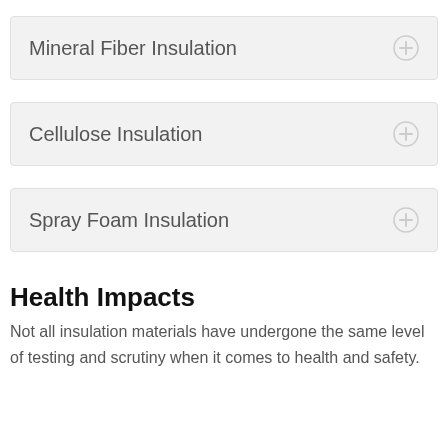Mineral Fiber Insulation
Cellulose Insulation
Spray Foam Insulation
Health Impacts
Not all insulation materials have undergone the same level of testing and scrutiny when it comes to health and safety.